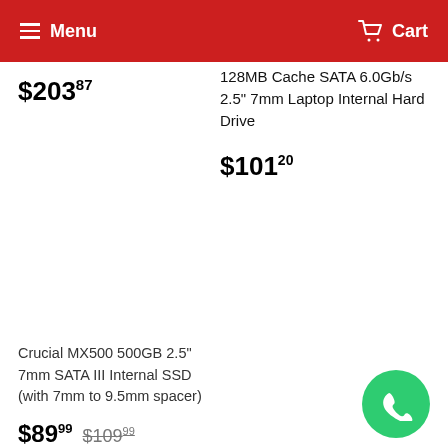Menu  Cart
$203.87
128MB Cache SATA 6.0Gb/s 2.5" 7mm Laptop Internal Hard Drive
$101.20
Crucial MX500 500GB 2.5" 7mm SATA III Internal SSD (with 7mm to 9.5mm spacer)
$89.99  $109.99